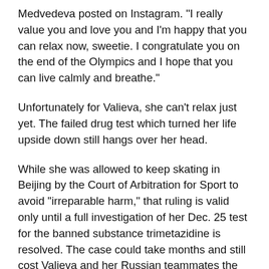Medvedeva posted on Instagram. "I really value you and love you and I'm happy that you can relax now, sweetie. I congratulate you on the end of the Olympics and I hope that you can live calmly and breathe."
Unfortunately for Valieva, she can't relax just yet. The failed drug test which turned her life upside down still hangs over her head.
While she was allowed to keep skating in Beijing by the Court of Arbitration for Sport to avoid "irreparable harm," that ruling is valid only until a full investigation of her Dec. 25 test for the banned substance trimetazidine is resolved. The case could take months and still cost Valieva and her Russian teammates the gold medal they won in last week's team event.
Because of Alexander Trusova...